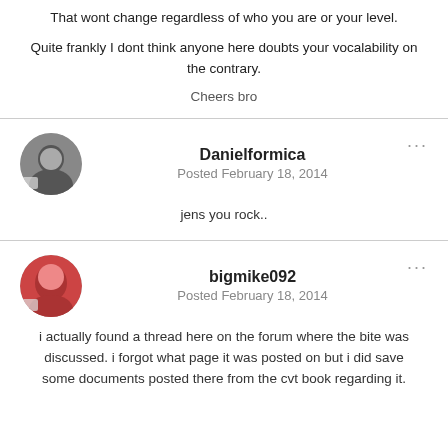That wont change regardless of who you are or your level.
Quite frankly I dont think anyone here doubts your vocalability on the contrary.
Cheers bro
Danielformica
Posted February 18, 2014
jens you rock..
bigmike092
Posted February 18, 2014
i actually found a thread here on the forum where the bite was discussed. i forgot what page it was posted on but i did save some documents posted there from the cvt book regarding it.